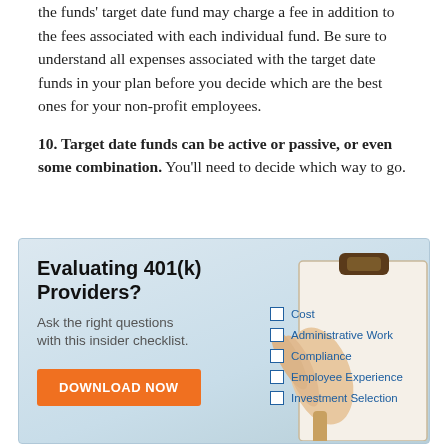the funds' target date fund may charge a fee in addition to the fees associated with each individual fund. Be sure to understand all expenses associated with the target date funds in your plan before you decide which are the best ones for your non-profit employees.
10. Target date funds can be active or passive, or even some combination. You'll need to decide which way to go.
[Figure (infographic): Advertisement banner for evaluating 401(k) providers. Left side has bold heading 'Evaluating 401(k) Providers?', subtext 'Ask the right questions with this insider checklist.' and an orange 'DOWNLOAD NOW' button. Right side shows a hand holding a clipboard with a checklist containing: Cost, Administrative Work, Compliance, Employee Experience, Investment Selection.]